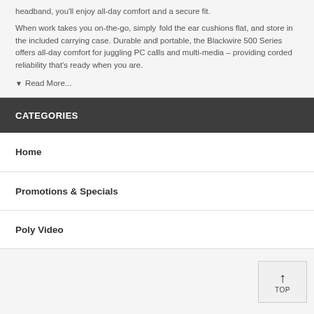headband, you'll enjoy all-day comfort and a secure fit.
When work takes you on-the-go, simply fold the ear cushions flat, and store in the included carrying case. Durable and portable, the Blackwire 500 Series offers all-day comfort for juggling PC calls and multi-media – providing corded reliability that's ready when you are.
▼ Read More...
CATEGORIES
Home
Promotions & Specials
Poly Video